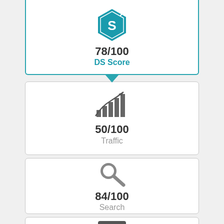[Figure (infographic): DS Score card with teal hexagon logo showing 'S', score 78/100, label DS Score]
78/100
DS Score
[Figure (infographic): Traffic card with bar chart trending upward icon, score 50/100, label Traffic]
50/100
Traffic
[Figure (infographic): Search card with magnifying glass icon, score 84/100, label Search]
84/100
Search
[Figure (infographic): Technology card with circuit/dice icon, partially visible at bottom]